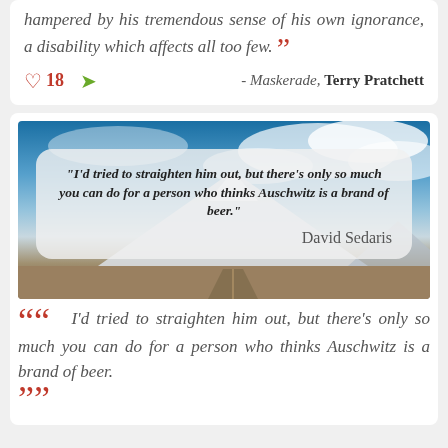hampered by his tremendous sense of his own ignorance, a disability which affects all too few. ”
18  - Maskerade, Terry Pratchett
[Figure (photo): A scenic mountain photo (Mount Fuji style) with blue sky and clouds, with a quote overlay card reading: "I'd tried to straighten him out, but there's only so much you can do for a person who thinks Auschwitz is a brand of beer." — David Sedaris]
““   I'd tried to straighten him out, but there's only so much you can do for a person who thinks Auschwitz is a brand of beer. ””